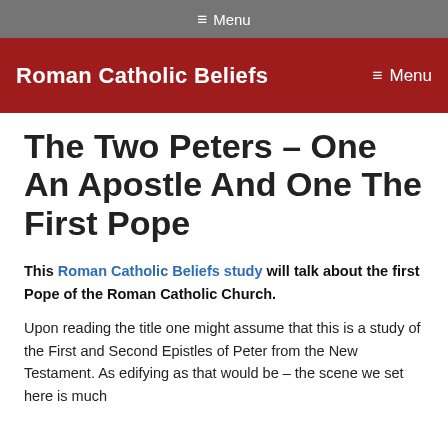≡ Menu
Roman Catholic Beliefs  ≡ Menu
The Two Peters – One An Apostle And One The First Pope
This Roman Catholic Beliefs study will talk about the first Pope of the Roman Catholic Church.
Upon reading the title one might assume that this is a study of the First and Second Epistles of Peter from the New Testament. As edifying as that would be – the scene we set here is much